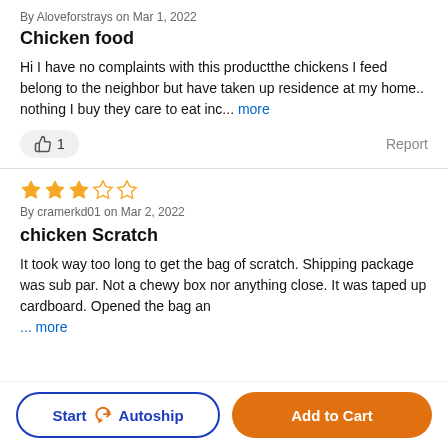By Aloveforstrays on Mar 1, 2022
Chicken food
Hi I have no complaints with this productthe chickens I feed belong to the neighbor but have taken up residence at my home.. nothing I buy they care to eat inc... more
👍 1   Report
★★★☆☆ By cramerkd01 on Mar 2, 2022
chicken Scratch
It took way too long to get the bag of scratch. Shipping package was sub par. Not a chewy box nor anything close. It was taped up cardboard. Opened the bag an ... more
Start 🔄 Autoship   Add to Cart